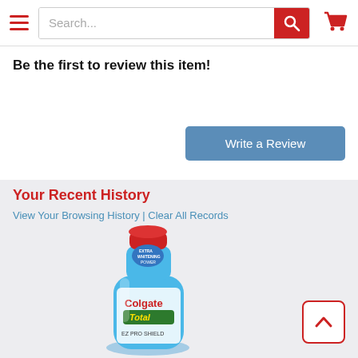Search... [navigation bar with hamburger menu, search box, and cart icon]
Be the first to review this item!
Write a Review
Your Recent History
View Your Browsing History | Clear All Records
[Figure (photo): Colgate Total Pro-Shield mouthwash bottle in blue color with red cap]